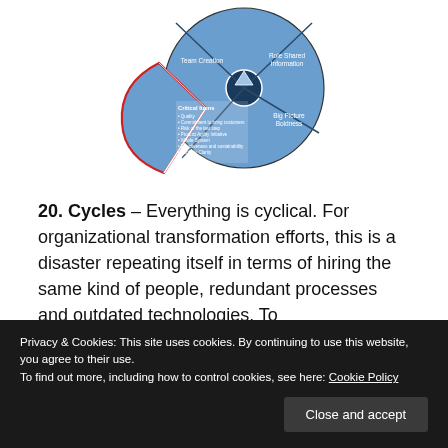[Figure (pie-chart): A partial pie/wheel diagram showing segments including 'Team Creation', 'Role Shared Information', 'Big Picture Boldness', and a highlighted/exploded segment labeled 'Critical Items' with a red border and list of bullet points inside.]
20. Cycles – Everything is cyclical. For organizational transformation efforts, this is a disaster repeating itself in terms of hiring the same kind of people, redundant processes and outdated technologies. To
Privacy & Cookies: This site uses cookies. By continuing to use this website, you agree to their use.
To find out more, including how to control cookies, see here: Cookie Policy